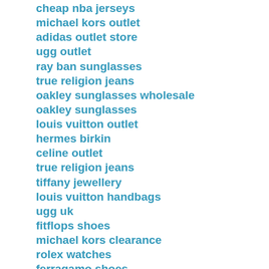cheap nba jerseys
michael kors outlet
adidas outlet store
ugg outlet
ray ban sunglasses
true religion jeans
oakley sunglasses wholesale
oakley sunglasses
louis vuitton outlet
hermes birkin
celine outlet
true religion jeans
tiffany jewellery
louis vuitton handbags
ugg uk
fitflops shoes
michael kors clearance
rolex watches
ferragamo shoes
iphone cases
michael kors outlet clearance
true religion outlet
coach outlet